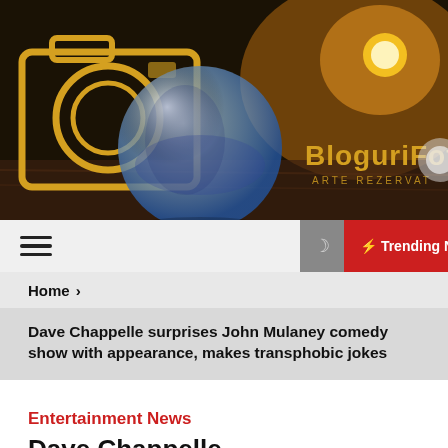[Figure (logo): BloguriFoto website logo with camera icon outline, crystal ball, and golden text 'BloguriFoto' on a warm sunset background with bokeh light effects]
☰  ☽  ⚡ Trending Now  🔍
Home  ›
Dave Chappelle surprises John Mulaney comedy show with appearance, makes transphobic jokes
Entertainment News
Dave Chappelle…